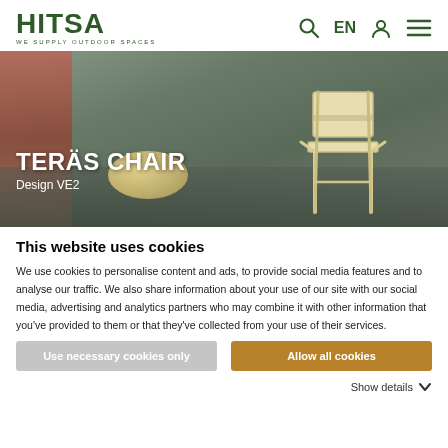HITSA WE SUPPLY OUTDOOR SPACES
[Figure (photo): Hero banner showing a TERÄS CHAIR by VE2 design against an outdoor waterfront background, with a decorative stone bollard. White text overlay reads 'TERÄS CHAIR' and 'Design VE2'.]
This website uses cookies
We use cookies to personalise content and ads, to provide social media features and to analyse our traffic. We also share information about your use of our site with our social media, advertising and analytics partners who may combine it with other information that you've provided to them or that they've collected from your use of their services.
Use necessary cookies only
Allow all cookies
Show details